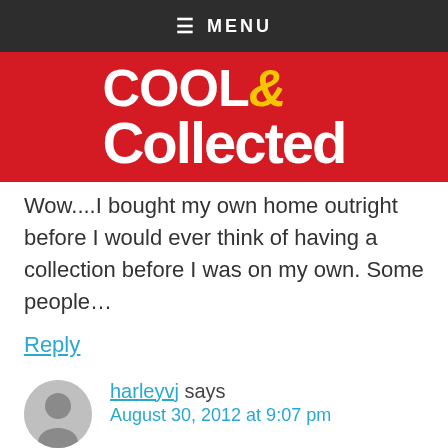≡ MENU
[Figure (logo): Cool & Collected blog logo — white bold text on red background with yellow ampersand]
Wow....I bought my own home outright before I would ever think of having a collection before I was on my own. Some people…
Reply
harleyvj says
August 30, 2012 at 9:07 pm